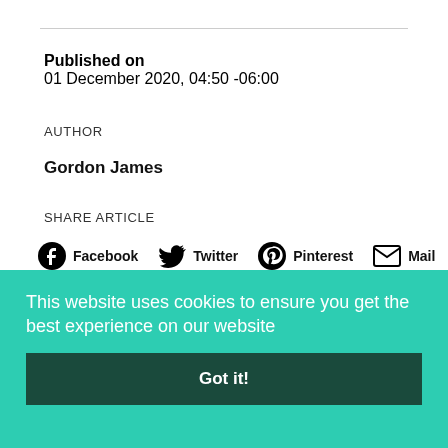Published on
01 December 2020, 04:50 -06:00
AUTHOR
Gordon James
SHARE ARTICLE
[Figure (infographic): Social share buttons: Facebook, Twitter, Pinterest, Mail, LinkedIn, WhatsApp, Facebook Messenger, Reddit]
This website uses cookies to ensure you get the best experience on our website
Got it!